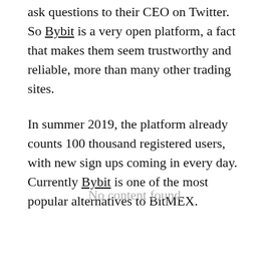ask questions to their CEO on Twitter. So Bybit is a very open platform, a fact that makes them seem trustworthy and reliable, more than many other trading sites.
In summer 2019, the platform already counts 100 thousand registered users, with new sign ups coming in every day. Currently Bybit is one of the most popular alternatives to BitMEX.
No content found